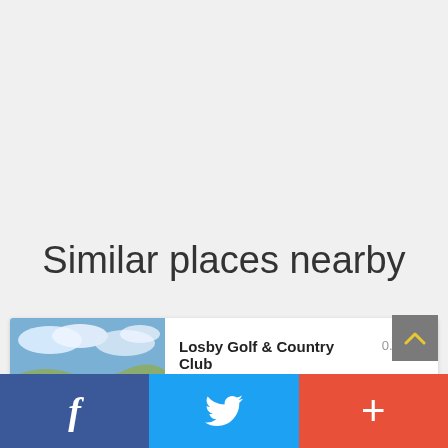Similar places nearby
[Figure (photo): Thumbnail photo of Losby Golf & Country Club showing a landscape with a golf course, snow patches, cloudy sky and hills.]
Losby Golf & Country Club
Lørenskog, 1475, Norway
Golf Course & Country Club
0.03 km
f  (Twitter bird)  +